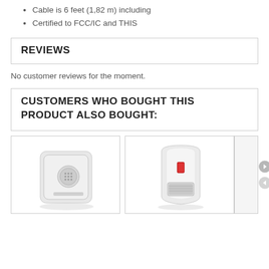Cable is 6 feet (1,82 m) including
Certified to FCC/IC and THIS
REVIEWS
No customer reviews for the moment.
CUSTOMERS WHO BOUGHT THIS PRODUCT ALSO BOUGHT:
[Figure (photo): White wireless alarm sensor device, small portable box shape with speaker grille]
[Figure (photo): White PIR motion detector sensor with red indicator light and sensor window at bottom]